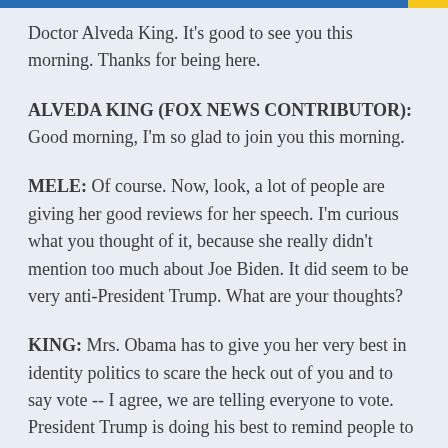Doctor Alveda King. It's good to see you this morning. Thanks for being here.
ALVEDA KING (FOX NEWS CONTRIBUTOR): Good morning, I'm so glad to join you this morning.
MELE: Of course. Now, look, a lot of people are giving her good reviews for her speech. I'm curious what you thought of it, because she really didn't mention too much about Joe Biden. It did seem to be very anti-President Trump. What are your thoughts?
KING: Mrs. Obama has to give you her very best in identity politics to scare the heck out of you and to say vote -- I agree, we are telling everyone to vote. President Trump is doing his best to remind people to send absentee ballots, go to the polls, socially distance of course, and vote -- vote early.